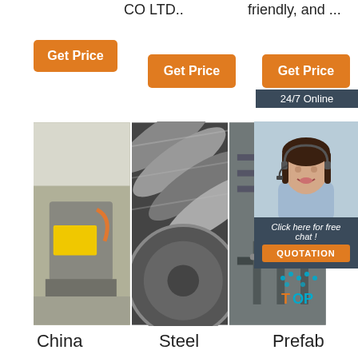CO LTD..
friendly, and ...
Get Price
Get Price
Get Price
24/7 Online
[Figure (photo): Industrial machine with yellow component in a factory setting]
[Figure (photo): Close-up of steel rollers or cylinders]
[Figure (photo): Customer service representative with headset smiling]
[Figure (photo): Industrial prefab equipment with TOP logo overlay]
Click here for free chat !
QUOTATION
China
Steel
Prefab